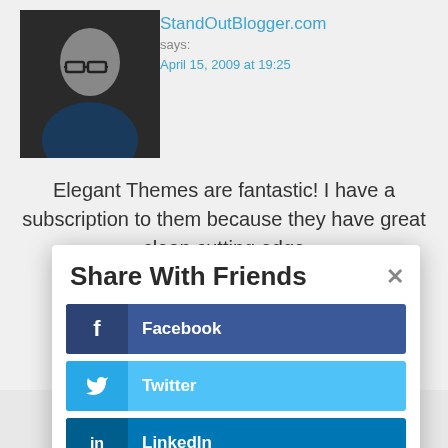[Figure (photo): Profile photo of a young man with glasses on a dark background]
StandOutBlogger.com
says:
April 15, 2009 at 19:25
Elegant Themes are fantastic! I have a subscription to them because they have great clean cutting edge
Share With Friends
Facebook
Twitter
LinkedIn
Gmail